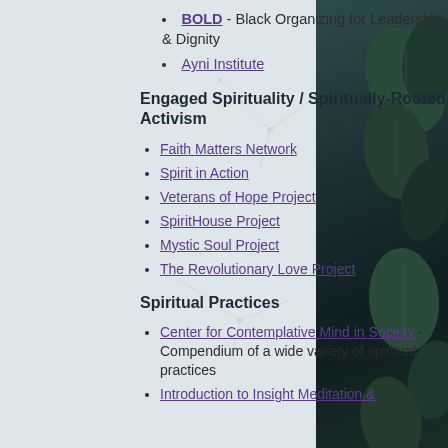BOLD - Black Organizing for Leadership & Dignity
Ayni Institute
Engaged Spirituality / Spiritually-Rooted Activism
Faith Matters Network
Spirit in Action
Veterans of Hope Project
SpiritHouse Project
Mystic Soul Project
The Revolutionary Love Project
Spiritual Practices
Center for Contemplative Mind in Society - Compendium of a wide variety of spiritual practices
Introduction to Insight Meditation &